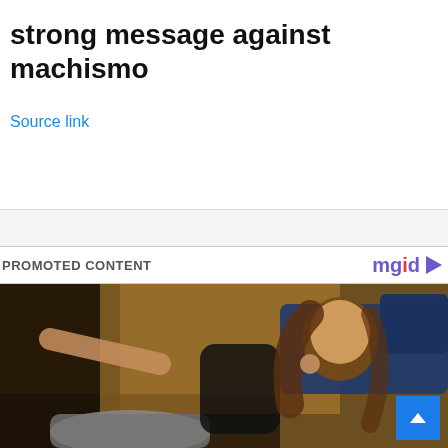strong message against machismo
Source link
PROMOTED CONTENT
[Figure (photo): Woman with long brown hair in a black bikini top and grey leggings, reclining and smiling, against a dark blue sofa and golden-brown background]